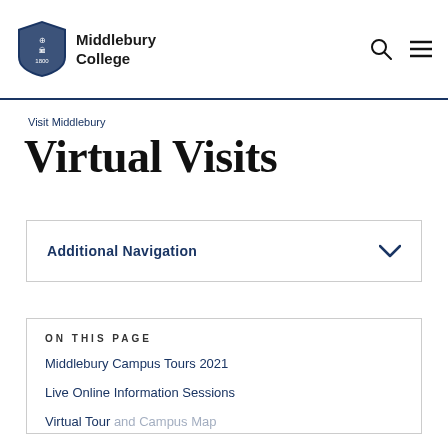Middlebury College
Visit Middlebury
Virtual Visits
Additional Navigation
ON THIS PAGE
Middlebury Campus Tours 2021
Live Online Information Sessions
Virtual Tour and Campus Map